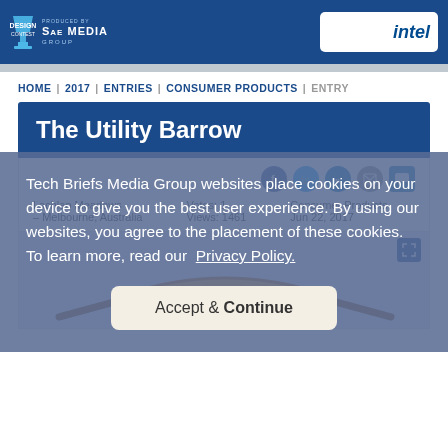Design Contest — Produced by SAE Media Group
HOME | 2017 | ENTRIES | CONSUMER PRODUCTS | ENTRY
The Utility Barrow
Lachlan Meadows – Melbourne, Australia    Votes: 1    Views: 1461    Consumer Products    Jun 22, 2017
Tech Briefs Media Group websites place cookies on your device to give you the best user experience. By using our websites, you agree to the placement of these cookies. To learn more, read our Privacy Policy.
Accept & Continue
[Figure (photo): Orange utility barrow / wheelbarrow product photo]